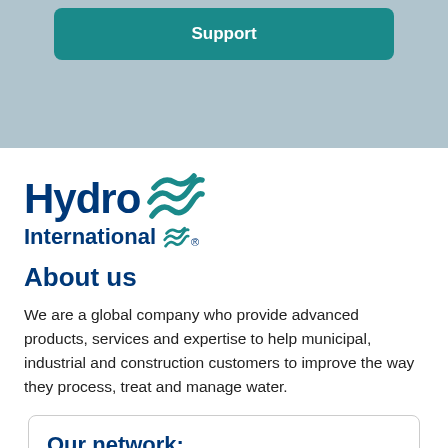[Figure (logo): Teal/blue 'Support' button on a light blue-grey background banner at top of page]
[Figure (logo): Hydro International logo with dark blue text and teal wave/squiggle icon]
About us
We are a global company who provide advanced products, services and expertise to help municipal, industrial and construction customers to improve the way they process, treat and manage water.
Our network: